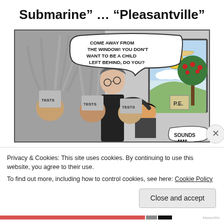Submarine" ... "Pleasantville"
[Figure (illustration): Editorial cartoon showing a teacher looming over children with 'TESTS' piled on their heads, saying 'COME AWAY FROM THE WINDOW! YOU DON'T WANT TO BE A CHILD LEFT BEHIND, DO YOU?' Through a window, colorful scenes show 'The Arts' and 'P.E.' with a child looking out. A speech bubble says 'SOUNDS...' at the bottom right.]
Privacy & Cookies: This site uses cookies. By continuing to use this website, you agree to their use.
To find out more, including how to control cookies, see here: Cookie Policy